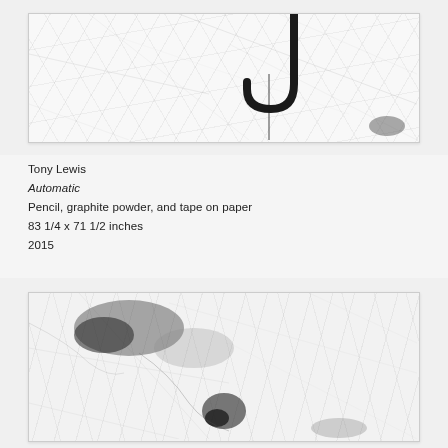[Figure (photo): Top portion of artwork photograph showing a J-shaped hook or umbrella handle on a white/marble-textured paper background, framed in white. This is the lower portion of the artwork visible at the top of the page.]
Tony Lewis
Automatic
Pencil, graphite powder, and tape on paper
83 1/4 x 71 1/2 inches
2015
[Figure (photo): Lower artwork photograph showing abstract graphite marks and dark smudges on a white/marble-textured paper background, framed in white. Dark gestural marks visible especially in the upper-left and center-lower areas.]